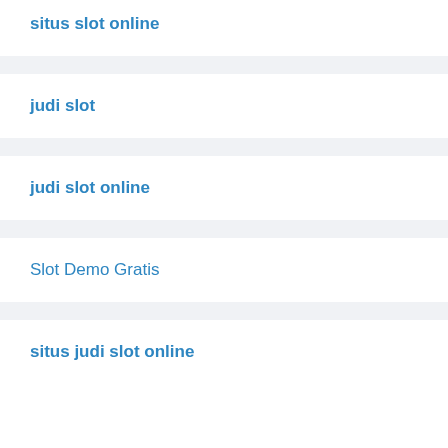situs slot online
judi slot
judi slot online
Slot Demo Gratis
situs judi slot online